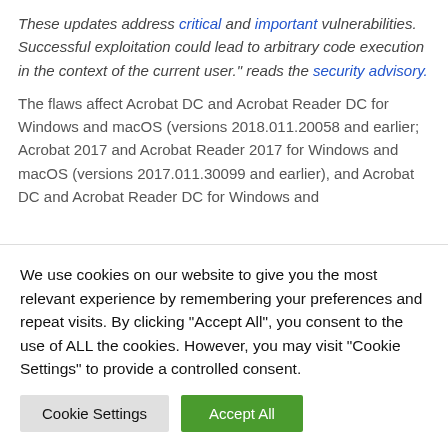These updates address critical and important vulnerabilities. Successful exploitation could lead to arbitrary code execution in the context of the current user." reads the security advisory.
The flaws affect Acrobat DC and Acrobat Reader DC for Windows and macOS (versions 2018.011.20058 and earlier; Acrobat 2017 and Acrobat Reader 2017 for Windows and macOS (versions 2017.011.30099 and earlier), and Acrobat DC and Acrobat Reader DC for Windows and
We use cookies on our website to give you the most relevant experience by remembering your preferences and repeat visits. By clicking "Accept All", you consent to the use of ALL the cookies. However, you may visit "Cookie Settings" to provide a controlled consent.